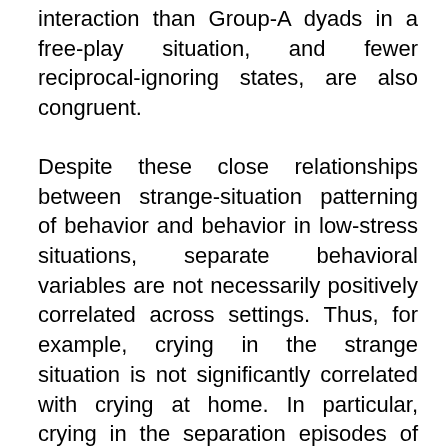interaction than Group-A dyads in a free-play situation, and fewer reciprocal-ignoring states, are also congruent.
Despite these close relationships between strange-situation patterning of behavior and behavior in low-stress situations, separate behavioral variables are not necessarily positively correlated across settings. Thus, for example, crying in the strange situation is not significantly correlated with crying at home. In particular, crying in the separation episodes of the strange situation is not significantly correlated with crying in the brief, everyday separations that occur in the home environment. Securely attached